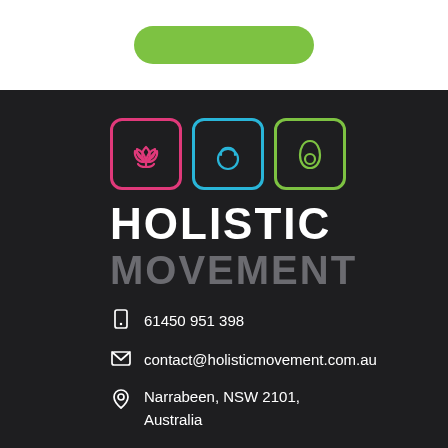[Figure (logo): Green rounded rectangle button shape at the top of the page]
[Figure (logo): Holistic Movement logo with three icons (lotus/pink, kettlebell/blue, avocado/green) in rounded square borders, with brand name HOLISTIC MOVEMENT below on dark background]
61450 951 398
contact@holisticmovement.com.au
Narrabeen, NSW 2101, Australia